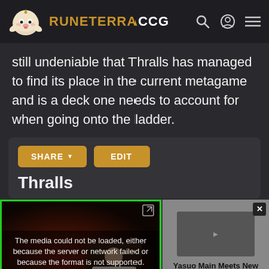RUNETERRACCG
still undeniable that Thralls has managed to find its place in the current metagame and is a deck one needs to account for when going onto the ladder.
[Figure (screenshot): Share and Edit buttons with Thralls deck title below, inside a dark rounded card]
[Figure (screenshot): Video player with green border showing media load error overlay, and a recommended video panel on the right showing 'Yasuo Main Meets New Udyr - Best of LoL Streams 2119'. A large X close button is at the bottom center.]
Bottom navigation bar with game icons